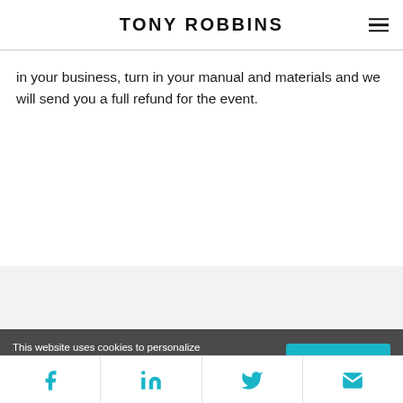TONY ROBBINS
in your business, turn in your manual and materials and we will send you a full refund for the event.
This website uses cookies to personalize your experience and target advertising.. By continuing to use our website, you accept the
[Figure (infographic): Social sharing bar with Facebook, LinkedIn, Twitter, and email icons in teal/cyan color]